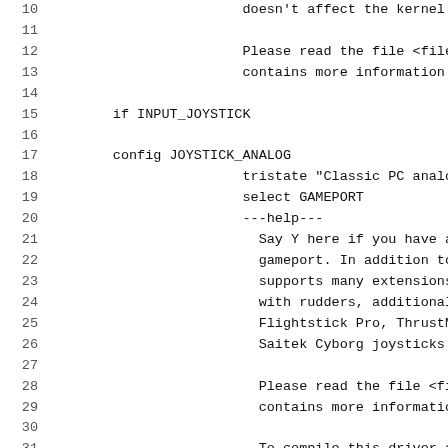Source code listing showing Linux kernel Kconfig file for joystick input drivers, lines 10-31
10			doesn't affect the kernel.
11	(blank)
12			Please read the file <file:Documentat
13			contains more information.
14	(blank)
15	if INPUT_JOYSTICK
16	(blank)
17	config JOYSTICK_ANALOG
18			tristate "Classic PC analog joysticks an
19			select GAMEPORT
20			---help---
21				Say Y here if you have a joystick tha
22				gameport. In addition to the usual PC
23				supports many extensions, including j
24				with rudders, additional hats and but
25				Flightstick Pro, ThrustMaster FCS, 6
26				Saitek Cyborg joysticks.
27	(blank)
28				Please read the file <file:Documentat
29				contains more information.
30	(blank)
31				To compile this driver as a module, c